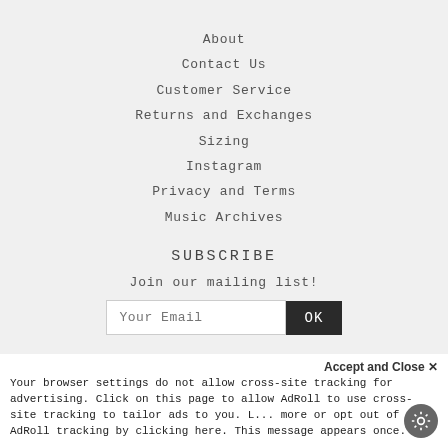About
Contact Us
Customer Service
Returns and Exchanges
Sizing
Instagram
Privacy and Terms
Music Archives
SUBSCRIBE
Join our mailing list!
Your Email  OK
Accept and Close ×
Your browser settings do not allow cross-site tracking for advertising. Click on this page to allow AdRoll to use cross-site tracking to tailor ads to you. Learn more or opt out of this AdRoll tracking by clicking here. This message appears once.